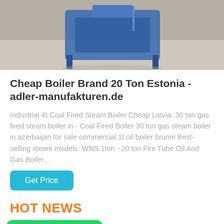[Figure (photo): Photo of an industrial boiler unit with blue metal frame on a gray floor, partially cropped at top]
Cheap Boiler Brand 20 Ton Estonia - adler-manufakturen.de
Industrial 4t Coal Fired Steam Boiler Cheap Latvia. 30 ton gas fired steam boiler in - Coal Fired Boiler 30 ton gas steam boiler in azerbaijan for sale commercial 1t oil boiler brunei Best-selling steam models: WNS 1ton ~20 ton Fire Tube Oil And Gas Boiler…
Get Price
HOT NEWS
[Figure (logo): WhatsApp green badge with WhatsApp icon and text]
Boiler Commercial Latvia
Thai Model Ef 544 4 8 L Hot Water Boiler